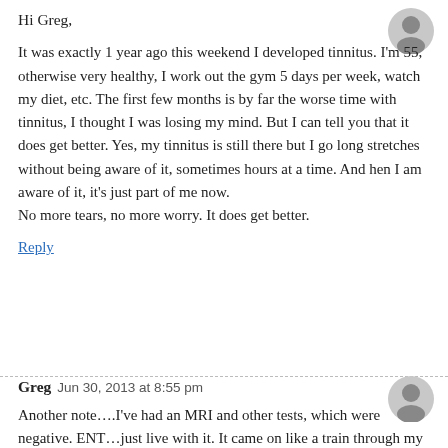[Figure (illustration): Gray avatar/placeholder user icon, top right corner]
Hi Greg,
It was exactly 1 year ago this weekend I developed tinnitus. I'm 55, otherwise very healthy, I work out the gym 5 days per week, watch my diet, etc. The first few months is by far the worse time with tinnitus, I thought I was losing my mind. But I can tell you that it does get better. Yes, my tinnitus is still there but I go long stretches without being aware of it, sometimes hours at a time. And hen I am aware of it, it's just part of me now.
No more tears, no more worry. It does get better.
Reply
[Figure (illustration): Gray avatar/placeholder user icon, second comment block]
Greg   Jun 30, 2013 at 8:55 pm
Another note….I've had an MRI and other tests, which were negative. ENT…just live with it. It came on like a train through my ears. I'm struggling.
Reply